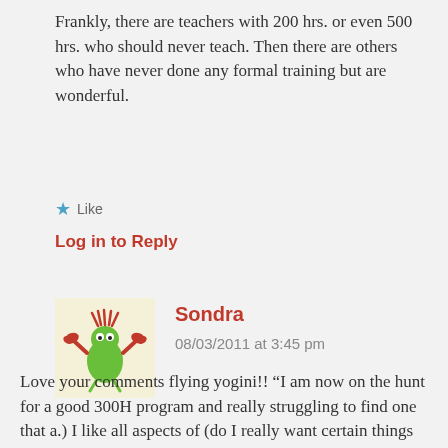Frankly, there are teachers with 200 hrs. or even 500 hrs. who should never teach. Then there are others who have never done any formal training but are wonderful.
★ Like
Log in to Reply
[Figure (illustration): Avatar of a cartoon crab-like creature with green body and red claws, on a light yellow background]
Sondra
08/03/2011 at 3:45 pm
Love your comments flying yogini!! “I am now on the hunt for a good 300H program and really struggling to find one that a.) I like all aspects of (do I really want certain things emphasized??) ” I would love to be able to